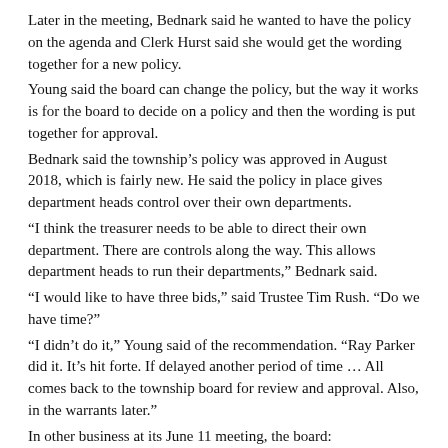Later in the meeting, Bednark said he wanted to have the policy on the agenda and Clerk Hurst said she would get the wording together for a new policy.
Young said the board can change the policy, but the way it works is for the board to decide on a policy and then the wording is put together for approval.
Bednark said the township's policy was approved in August 2018, which is fairly new. He said the policy in place gives department heads control over their own departments.
“I think the treasurer needs to be able to direct their own department. There are controls along the way. This allows department heads to run their departments,” Bednark said.
“I would like to have three bids,” said Trustee Tim Rush. “Do we have time?”
“I didn’t do it,” Young said of the recommendation. “Ray Parker did it. It’s hit forte. If delayed another period of time … All comes back to the township board for review and approval. Also, in the warrants later.”
In other business at its June 11 meeting, the board:
• Approved a use and occupancy agreement renewal for 2019 for a three-year term with the Wayne County WIC Program. The agreement includes a 5% increase, to $300 per year, for monthly utility payments to the township and a two-year extension. Clerk Esther Hurst said this raise was to cover the township because of rising utility costs;
• Approved accepting the gift of the Four-Way Test pendant from the